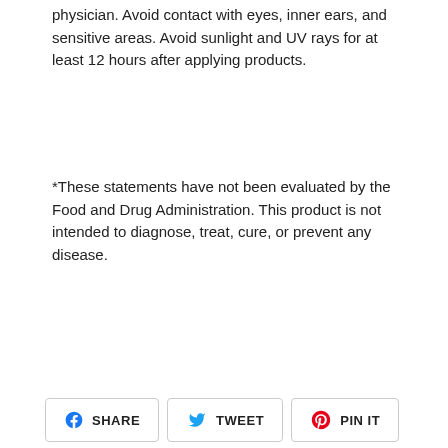physician. Avoid contact with eyes, inner ears, and sensitive areas. Avoid sunlight and UV rays for at least 12 hours after applying products.
*These statements have not been evaluated by the Food and Drug Administration. This product is not intended to diagnose, treat, cure, or prevent any disease.
[Figure (other): Social sharing buttons: Facebook SHARE, Twitter TWEET, Pinterest PIN IT]
YOU MAY ALSO LIKE
[Figure (photo): Two product image placeholder boxes side by side (light gray backgrounds)]